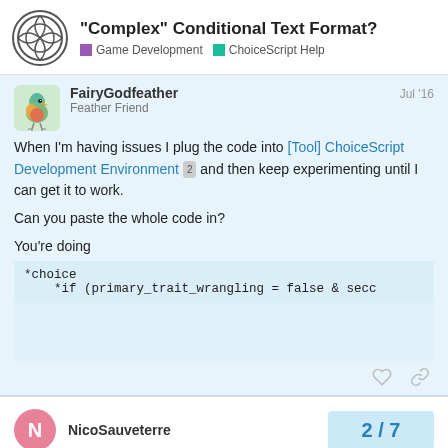"Complex" Conditional Text Format? | Game Development | ChoiceScript Help
FairyGodfeather  Jul '16
Feather Friend
When I'm having issues I plug the code into [Tool] ChoiceScript Development Environment 2 and then keep experimenting until I can get it to work.
Can you paste the whole code in?
You're doing
*choice
    *if (primary_trait_wrangling = false & secc
NicoSauveterre
2 / 7